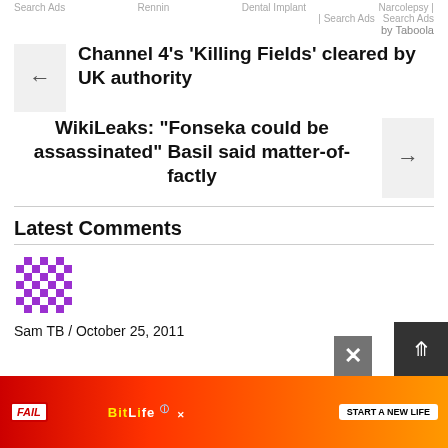Search Ads   Rennin   Dental Implant   Narcolepsy | Search Ads   Search Ads
by Taboola
Channel 4's 'Killing Fields' cleared by UK authority
WikiLeaks: "Fonseka could be assassinated" Basil said matter-of-factly
Latest Comments
[Figure (illustration): Purple pixel/geometric avatar icon]
Sam TB / October 25, 2011
[Figure (illustration): BitLife game advertisement banner with FAIL badge and START A NEW LIFE text]